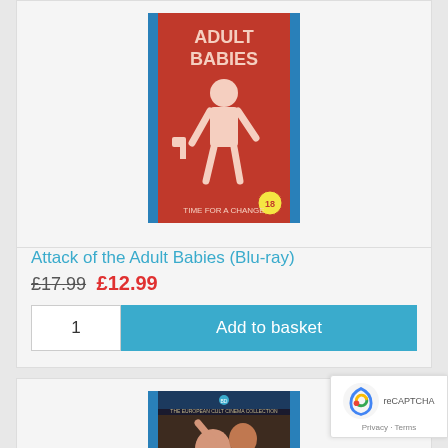[Figure (photo): Blu-ray cover of 'Attack of the Adult Babies' — red background with illustrated figure, blue spine visible]
Attack of the Adult Babies (Blu-ray)
£17.99 £12.99
1  Add to basket
[Figure (photo): Blu-ray cover of 'Death Laid an Egg' — The European Cult Cinema Collection, couple in dramatic pose]